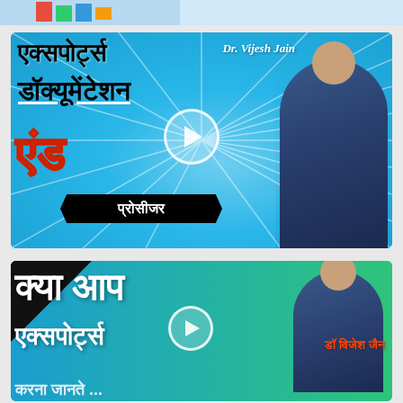[Figure (screenshot): Top partial crop of a video thumbnail showing colorful elements]
[Figure (screenshot): Video thumbnail for Exports Documentation & Procedure course in Hindi by Dr. Vijesh Jain. Blue background with sunray pattern, Hindi text: एक्सपोर्ट्स डॉक्यूमेंटेशन एंड प्रोसीजर, play button, and presenter photo.]
[Figure (screenshot): Video thumbnail for exports course in Hindi by डॉ विजेश जैन. Dark and green background, Hindi text: क्या आप एक्सपोर्ट्स, play button, and presenter photo.]